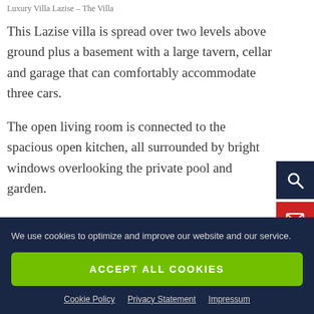Luxury Villa Lazise – The Villa
This Lazise villa is spread over two levels above ground plus a basement with a large tavern, cellar and garage that can comfortably accommodate three cars.
The open living room is connected to the spacious open kitchen, all surrounded by bright windows overlooking the private pool and garden.
We use cookies to optimize and improve our website and our service.
ACCEPT ALL COOKIES
Cookie Policy   Privacy Statement   Impressum